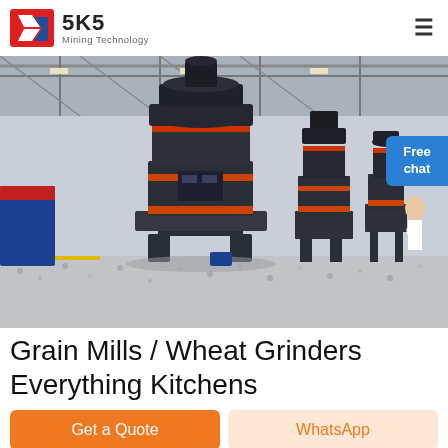SKS Mining Technology
[Figure (photo): Industrial mining machinery (vertical shaft impact crushers / grinding mills) in a large factory/warehouse setting, multiple large dark grey machines on a gravel floor]
Grain Mills / Wheat Grinders Everything Kitchens
Get a Quote
WhatsApp